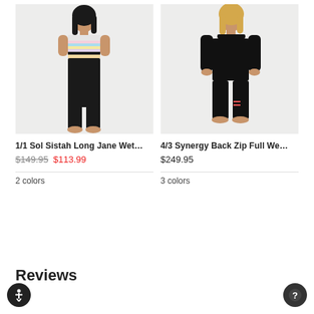[Figure (photo): Woman wearing a colorful striped crop top and black high-waist leggings, standing against a light gray background]
[Figure (photo): Woman wearing a black long-sleeve full wetsuit, standing against a light gray background]
1/1 Sol Sistah Long Jane Wet…
$149.95  $113.99
2 colors
4/3 Synergy Back Zip Full We…
$249.95
3 colors
Reviews